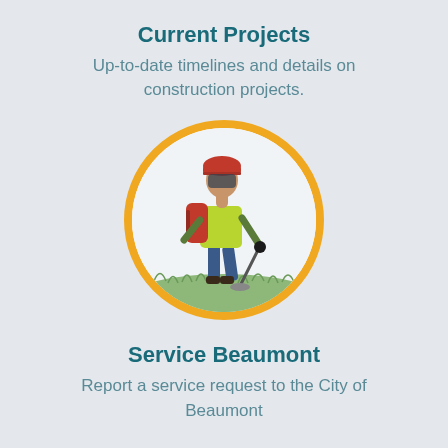Current Projects
Up-to-date timelines and details on construction projects.
[Figure (photo): A worker in a yellow high-visibility vest, red helmet, and backpack-style equipment, using a weed trimmer on a grassy area. The image is circular with a gold/orange border.]
Service Beaumont
Report a service request to the City of Beaumont